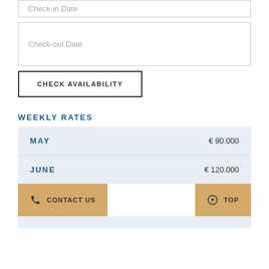Check-in Date
Check-out Date
CHECK AVAILABILITY
WEEKLY RATES
| Month | Price |
| --- | --- |
| MAY | € 90.000 |
| JUNE | € 120.000 |
CONTACT US
TOP